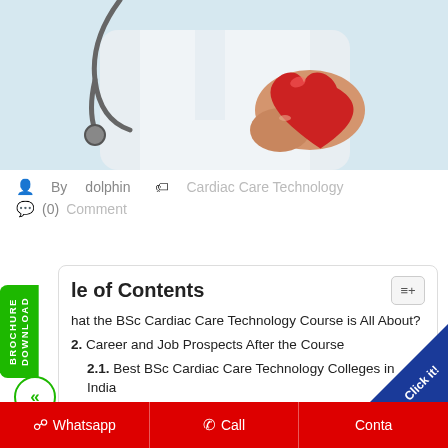[Figure (photo): Doctor in white coat holding a red heart, stethoscope visible in background]
By dolphin   Cardiac Care Technology
(0) Comment
DOWNLOAD BROCHURE
Table of Contents
1. What the BSc Cardiac Care Technology Course is All About?
2. Career and Job Prospects After the Course
2.1. Best BSc Cardiac Care Technology Colleges in India
2.2. Dolphin PG College of Science
Whatsapp   Call   Contact